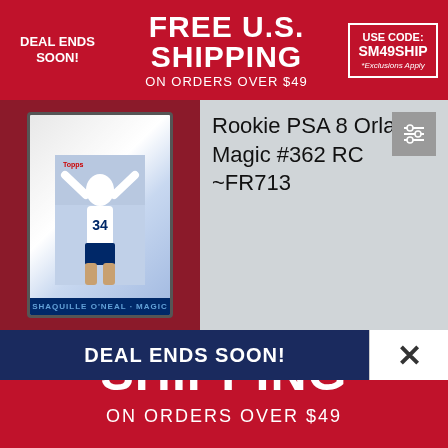DEAL ENDS SOON! FREE U.S. SHIPPING ON ORDERS OVER $49 USE CODE: SM49SHIP *Exclusions Apply
[Figure (photo): Basketball trading card in PSA graded case showing a player in Orlando Magic uniform #34]
Rookie PSA 8 Orlando Magic #362 RC ~FR713
DEAL ENDS SOON!
FREE U.S. SHIPPING
ON ORDERS OVER $49
USE CODE: SM49SHIP
*Exclusions Apply*